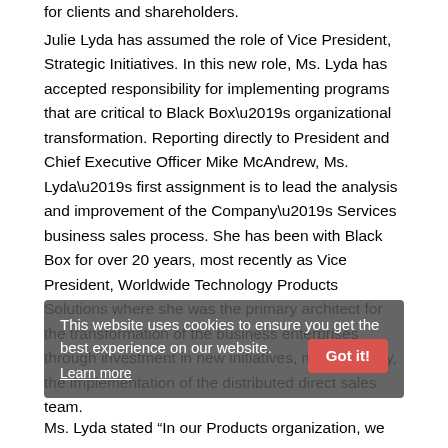for clients and shareholders.
Julie Lyda has assumed the role of Vice President, Strategic Initiatives. In this new role, Ms. Lyda has accepted responsibility for implementing programs that are critical to Black Box’s organizational transformation. Reporting directly to President and Chief Executive Officer Mike McAndrew, Ms. Lyda’s first assignment is to lead the analysis and improvement of the Company’s Services business sales process. She has been with Black Box for over 20 years, most recently as Vice President, Worldwide Technology Products Solutions where she was the primary architect for the transformation of the business enterprises through investment in new initiatives, most recently, the implementation of the distributed direct sales team.
This website uses cookies to ensure you get the best experience on our website. Learn more
Ms. Lyda stated “In our Products organization, we